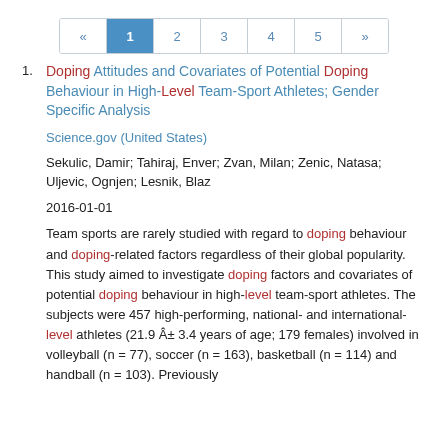« 1 2 3 4 5 »
Doping Attitudes and Covariates of Potential Doping Behaviour in High-Level Team-Sport Athletes; Gender Specific Analysis
Science.gov (United States)
Sekulic, Damir; Tahiraj, Enver; Zvan, Milan; Zenic, Natasa; Uljevic, Ognjen; Lesnik, Blaz
2016-01-01
Team sports are rarely studied with regard to doping behaviour and doping-related factors regardless of their global popularity. This study aimed to investigate doping factors and covariates of potential doping behaviour in high-level team-sport athletes. The subjects were 457 high-performing, national- and international-level athletes (21.9 Â± 3.4 years of age; 179 females) involved in volleyball (n = 77), soccer (n = 163), basketball (n = 114) and handball (n = 103). Previously